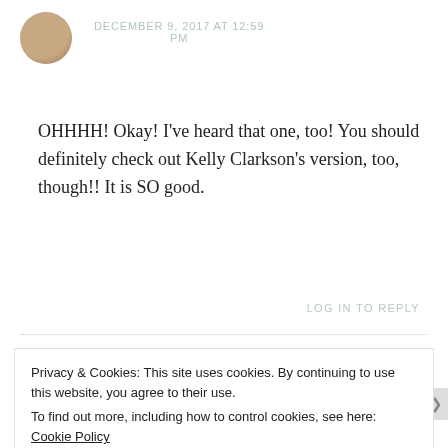DECEMBER 9, 2017 AT 12:59 PM
OHHHH! Okay! I've heard that one, too! You should definitely check out Kelly Clarkson's version, too, though!! It is SO good.
★ Like
LOG IN TO REPLY
Privacy & Cookies: This site uses cookies. By continuing to use this website, you agree to their use.
To find out more, including how to control cookies, see here: Cookie Policy
Close and accept